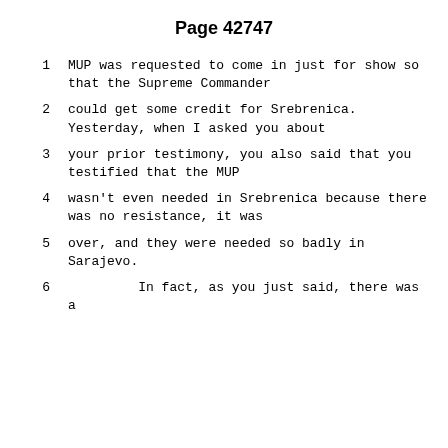Page 42747
1      MUP was requested to come in just for show so that the Supreme Commander
2      could get some credit for Srebrenica. Yesterday, when I asked you about
3      your prior testimony, you also said that you testified that the MUP
4      wasn't even needed in Srebrenica because there was no resistance, it was
5      over, and they were needed so badly in Sarajevo.
6                In fact, as you just said, there was a